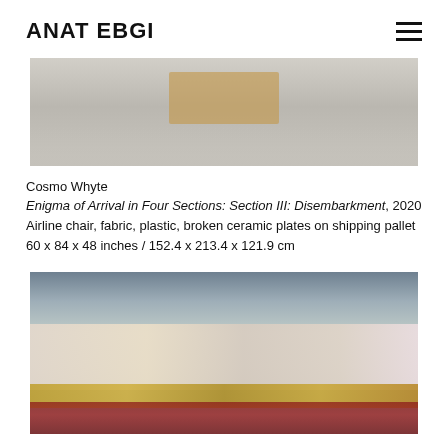ANAT EBGI
[Figure (photo): Installation view of broken ceramic plates scattered on floor around a wooden shipping pallet]
Cosmo Whyte
Enigma of Arrival in Four Sections: Section III: Disembarkment, 2020
Airline chair, fabric, plastic, broken ceramic plates on shipping pallet
60 x 84 x 48 inches / 152.4 x 213.4 x 121.9 cm
[Figure (photo): Close-up of ornate floral-patterned fabric-covered furniture with gold trim and tassels]